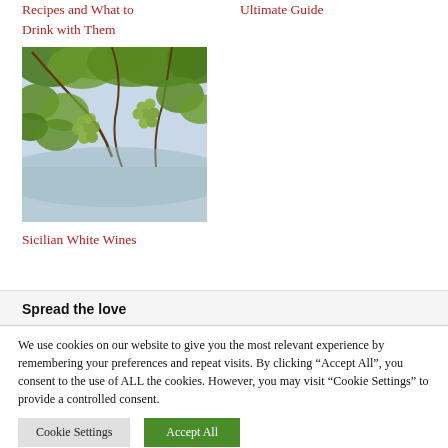Recipes and What to Drink with Them
Ultimate Guide
[Figure (photo): Grape vines with green leaves and clusters of grapes against a light blue sky background]
Sicilian White Wines
Spread the love
We use cookies on our website to give you the most relevant experience by remembering your preferences and repeat visits. By clicking “Accept All”, you consent to the use of ALL the cookies. However, you may visit "Cookie Settings" to provide a controlled consent.